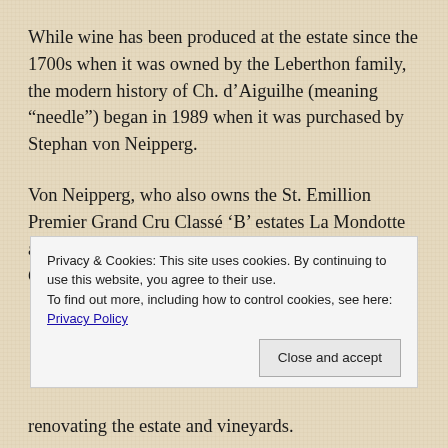While wine has been produced at the estate since the 1700s when it was owned by the Leberthon family, the modern history of Ch. d’Aiguilhe (meaning “needle”) began in 1989 when it was purchased by Stephan von Neipperg.
Von Neipperg, who also owns the St. Emillion Premier Grand Cru Classé ‘B’ estates La Mondotte and Ch. Canon-la-Gaffelière as well as Clos de l’Oratoire, Ch. Peyreau, Clos Marsalette
Privacy & Cookies: This site uses cookies. By continuing to use this website, you agree to their use.
To find out more, including how to control cookies, see here: Privacy Policy
renovating the estate and vineyards.